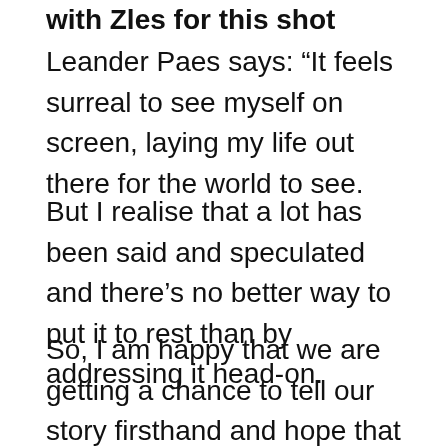with Zles for this shot
Leander Paes says: “It feels surreal to see myself on screen, laying my life out there for the world to see.
But I realise that a lot has been said and speculated and there’s no better way to put it to rest than by addressing it head-on.
So, I am happy that we are getting a chance to tell our story firsthand and hope that the audience continues to admire our on-court partnership and respect our reasons to break-up”.